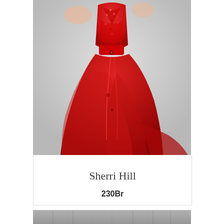[Figure (photo): A woman wearing a red beaded mermaid-style formal gown with tulle skirt and train, photographed against a light gray background. The dress features intricate red sequin and bead embellishments on the bodice.]
Sherri Hill
230Br
[Figure (photo): Partial view of another dress or fashion item at the bottom of the page, gray toned.]